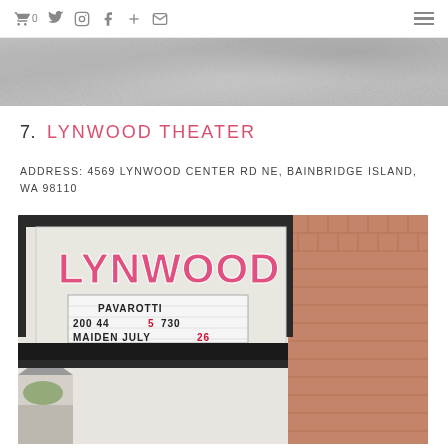Cart 0 | Twitter | Instagram | Facebook | Add | Email | Menu
[Figure (photo): Textured granite or stone surface, grey tones, hero banner image]
7. LYNWOOD THEATER
ADDRESS: 4569 LYNWOOD CENTER RD NE, BAINBRIDGE ISLAND, WA 98110
[Figure (photo): Photograph of the Lynwood Theater marquee sign showing LYNWOOD in large pink neon letters and PAVAROTTI 200 445 730 MAIDEN JULY 26 on the marquee board. Brick building facade visible.]